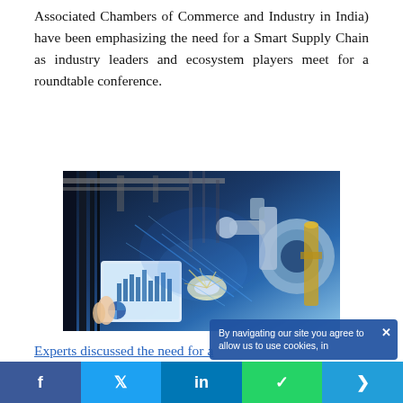Associated Chambers of Commerce and Industry in India) have been emphasizing the need for a Smart Supply Chain as industry leaders and ecosystem players meet for a roundtable conference.
[Figure (photo): Industrial automation photo showing a robotic arm in a factory setting with sparks flying, and a person holding a tablet displaying charts and graphs. Blue-toned industrial imagery.]
Experts discussed the need for a